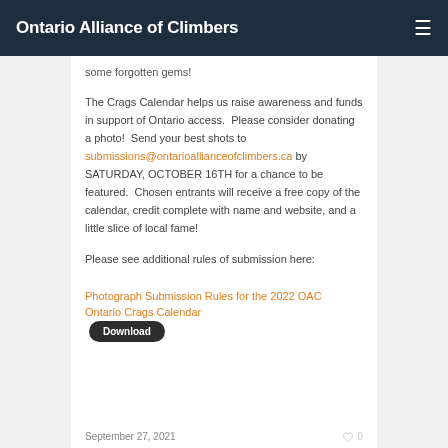Ontario Alliance of Climbers
some forgotten gems!
The Crags Calendar helps us raise awareness and funds in support of Ontario access.  Please consider donating a photo!  Send your best shots to submissions@ontarioallianceofclimbers.ca by SATURDAY, OCTOBER 16TH for a chance to be featured.  Chosen entrants will receive a free copy of the calendar, credit complete with name and website, and a little slice of local fame!
Please see additional rules of submission here:
Photograph Submission Rules for the 2022 OAC Ontario Crags Calendar  Download
September 27, 2021  0